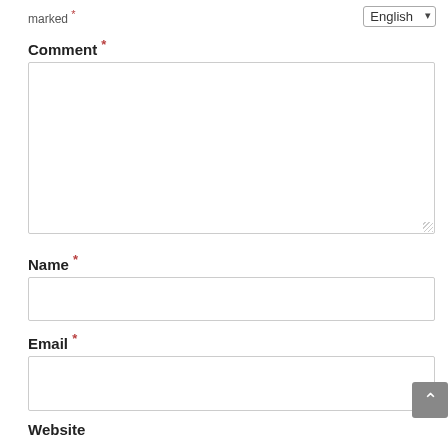marked *
English (dropdown)
Comment *
[Figure (other): Large empty textarea input box for comment]
Name *
[Figure (other): Single-line text input box for Name]
Email *
[Figure (other): Single-line text input box for Email]
Website